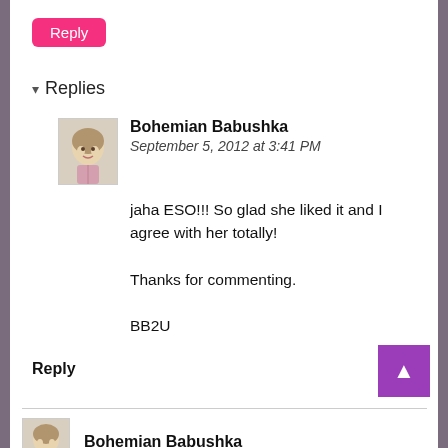Reply
Replies
[Figure (illustration): Avatar image of a illustrated female figure]
Bohemian Babushka
September 5, 2012 at 3:41 PM
jaha ESO!!! So glad she liked it and I agree with her totally!

Thanks for commenting.

BB2U
Reply
[Figure (illustration): Avatar image of a illustrated female figure at bottom]
Bohemian Babushka